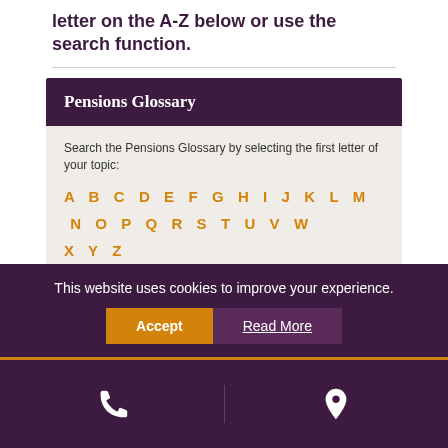letter on the A-Z below or use the search function.
Pensions Glossary
Search the Pensions Glossary by selecting the first letter of your topic:
A B C D E F G H I J K L M N O P Q R S T U V W X Y Z
Beddoes Order
In High Court proceedings, it is vital for trustees to have the comfort and protection of knowing that... More
This website uses cookies to improve your experience.
Accept
Read More